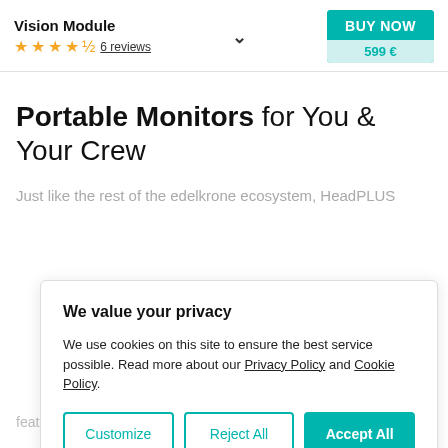Vision Module — ★★★★½ 6 reviews — BUY NOW 599 €
Portable Monitors for You & Your Crew
Just like the rest of the edelkrone ecosystem, HeadPLUS
We value your privacy
We use cookies on this site to ensure the best service possible. Read more about our Privacy Policy and Cookie Policy.
Customize   Reject All   Accept All
feature works with edelkrone's free app and gives you